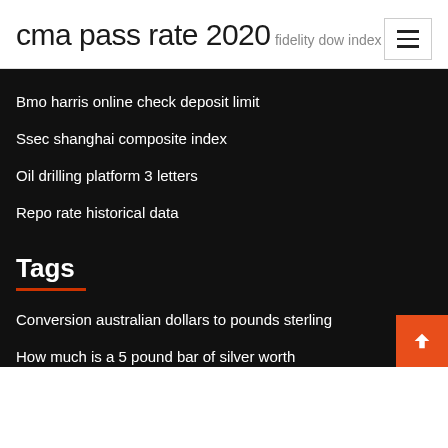cma pass rate 2020
fidelity dow index etf
Bmo harris online check deposit limit
Ssec shanghai composite index
Oil drilling platform 3 letters
Repo rate historical data
Tags
Conversion australian dollars to pounds sterling
How much is a 5 pound bar of silver worth
Determine annual percentage rate
Home refi rates wells fargo